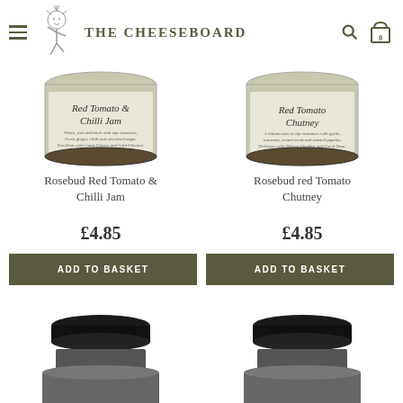THE CHEESEBOARD
[Figure (photo): Jar of Rosebud Red Tomato & Chilli Jam with label visible]
[Figure (photo): Jar of Rosebud Red Tomato Chutney with label visible]
Rosebud Red Tomato & Chilli Jam
Rosebud red Tomato Chutney
£4.85
£4.85
ADD TO BASKET
ADD TO BASKET
[Figure (photo): Bottom portion of a jar with black lid, partially visible]
[Figure (photo): Bottom portion of a jar with black lid, partially visible]